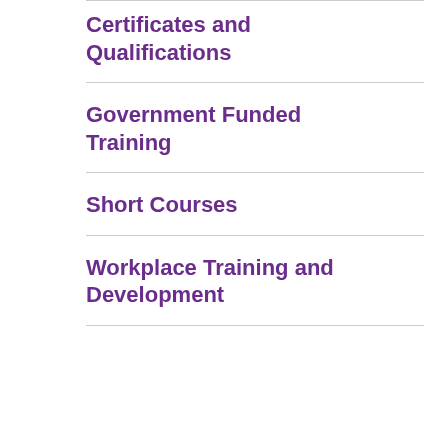Certificates and Qualifications
Government Funded Training
Short Courses
Workplace Training and Development